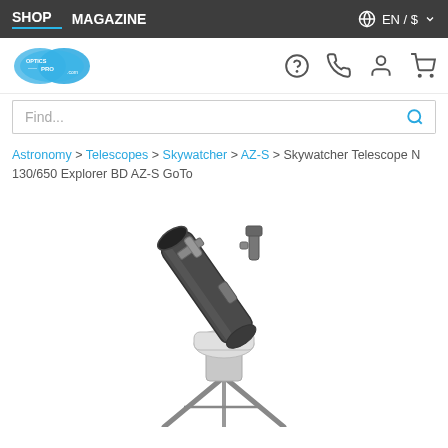SHOP   MAGAZINE   EN / $
[Figure (logo): Optics-Pro.com logo — blue cloud/binocular shape with text 'OPTICS PRO .com']
Find...
Astronomy > Telescopes > Skywatcher > AZ-S > Skywatcher Telescope N 130/650 Explorer BD AZ-S GoTo
[Figure (photo): Product photo of Skywatcher Telescope N 130/650 Explorer BD AZ-S GoTo — a Newtonian reflector telescope on an alt-azimuth GoTo mount with tripod, dark grey tube with eyepiece focuser on top, white/silver mount body]